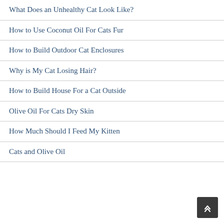What Does an Unhealthy Cat Look Like?
How to Use Coconut Oil For Cats Fur
How to Build Outdoor Cat Enclosures
Why is My Cat Losing Hair?
How to Build House For a Cat Outside
Olive Oil For Cats Dry Skin
How Much Should I Feed My Kitten
Cats and Olive Oil